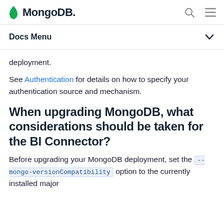MongoDB
Docs Menu
deployment.
See Authentication for details on how to specify your authentication source and mechanism.
When upgrading MongoDB, what considerations should be taken for the BI Connector?
Before upgrading your MongoDB deployment, set the --mongo-versionCompatibility option to the currently installed major